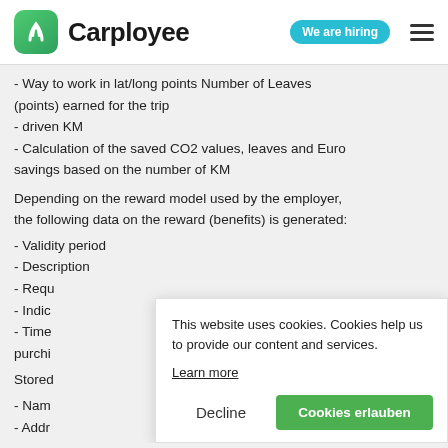Carployee — We are hiring
- Way to work in lat/long points Number of Leaves (points) earned for the trip
- driven KM
- Calculation of the saved CO2 values, leaves and Euro savings based on the number of KM
Depending on the reward model used by the employer, the following data on the reward (benefits) is generated:
- Validity period
- Description
- Requ[ired points]
- Indic[ator / type]
- Time[stamp / available for] purch[ase]
Store[d partner data:]
- Nam[e]
- Addr[ess]
- Registration code for employees
This website uses cookies. Cookies help us to provide our content and services.
Learn more
Decline
Cookies erlauben